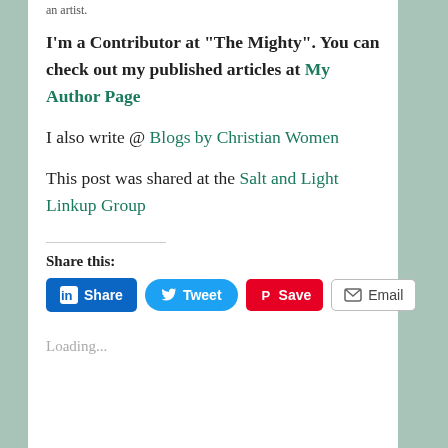an artist.
I'm a Contributor at “The Mighty”. You can check out my published articles at My Author Page
I also write @ Blogs by Christian Women
This post was shared at the Salt and Light Linkup Group
Share this:
[Figure (infographic): Social share buttons: LinkedIn Share, Tweet, Pinterest Save, Email]
Loading...